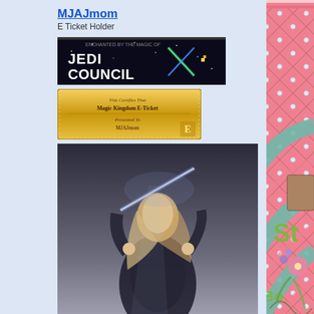MJAJmom
E Ticket Holder
[Figure (illustration): Jedi Council forum badge — dark background with 'JEDI COUNCIL' text and lightsaber graphic]
[Figure (illustration): Gold E-Ticket certificate/pass image]
[Figure (photo): Avatar image: woman warrior with sword in misty atmospheric scene]
Join Date: Jan 2010
Location: Austin, Texas
Software: PSE 7.0
Posts: 4,543
Points: 10,193
[Figure (illustration): Scrapbook digital art page with pink quilted/diamond pattern background, teal concentric rainbow arcs, floral embellishments, partial text reading 'the Boa' and 'St']